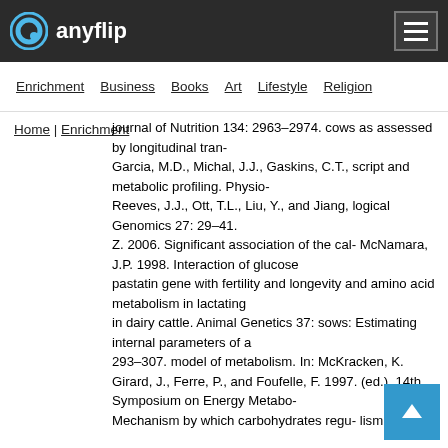anyflip
Enrichment   Business   Books   Art   Lifestyle   Religion
Home   Enrichment
journal of Nutrition 134: 2963–2974. cows as assessed by longitudinal tran-
Garcia, M.D., Michal, J.J., Gaskins, C.T., script and metabolic profiling. Physio-
Reeves, J.J., Ott, T.L., Liu, Y., and Jiang, logical Genomics 27: 29–41.
Z. 2006. Significant association of the cal- McNamara, J.P. 1998. Interaction of glucose
pastatin gene with fertility and longevity and amino acid metabolism in lactating
in dairy cattle. Animal Genetics 37: sows: Estimating internal parameters of a
293–307. model of metabolism. In: McKracken, K.
Girard, J., Ferre, P., and Foufelle, F. 1997. (ed.), 14th Symposium on Energy Metabo-
Mechanism by which carbohydrates regu- lism of Farm